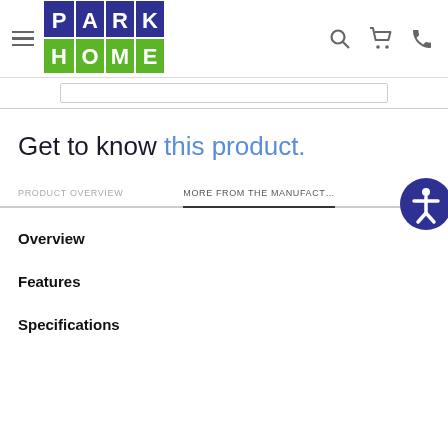[Figure (logo): Park Home logo: blue and green grid with letters P, A, R, K on top and H, O, M, E on bottom in white text]
Get to know this product.
PRODUCT OVERVIEW
MORE FROM THE MANUFACTURER
Overview
Features
Specifications